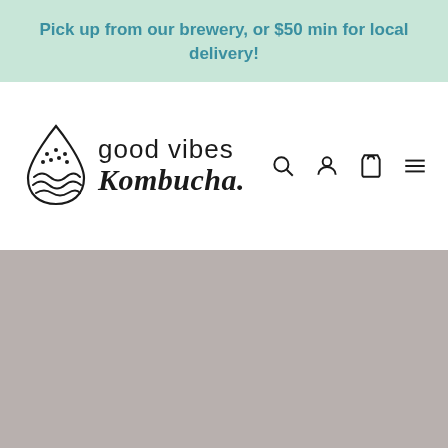Pick up from our brewery, or $50 min for local delivery!
[Figure (logo): Good Vibes Kombucha logo with a decorative water droplet icon on the left and the text 'good vibes Kombucha.' in mixed sans-serif and italic script fonts, alongside navigation icons: search, account, cart, and hamburger menu]
[Figure (photo): Gray/taupe colored background area, likely an image placeholder or hero image section]